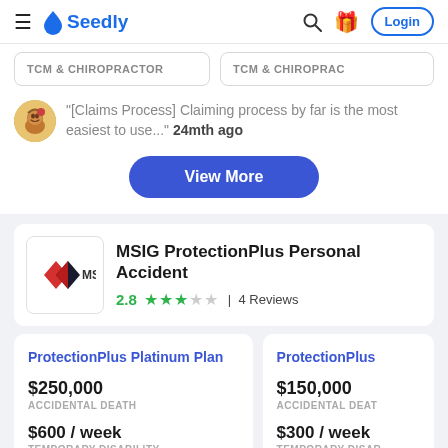Seedly — Login
TCM & CHIROPRACTOR
TCM & CHIROPRAC
"[Claims Process] Claiming process by far is the most easiest to use..." 24mth ago
View More
MSIG ProtectionPlus Personal Accident
2.8  4 Reviews
ProtectionPlus Platinum Plan
$250,000
ACCIDENTAL DEATH
$600 / week
TEMPORARY DISABILITY
ProtectionPlus
$150,000
ACCIDENTAL DEAT
$300 / week
TEMPORARY DISAR